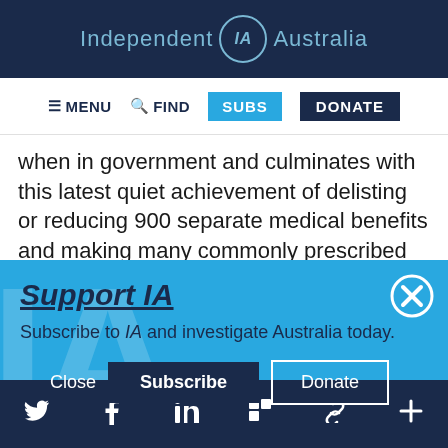Independent IA Australia
≡ MENU  🔍 FIND  SUBS  DONATE
when in government and culminates with this latest quiet achievement of delisting or reducing 900 separate medical benefits and making many commonly prescribed
Support IA
Subscribe to IA and investigate Australia today.
Close  Subscribe  Donate
Twitter  Facebook  LinkedIn  Flipboard  Link  +